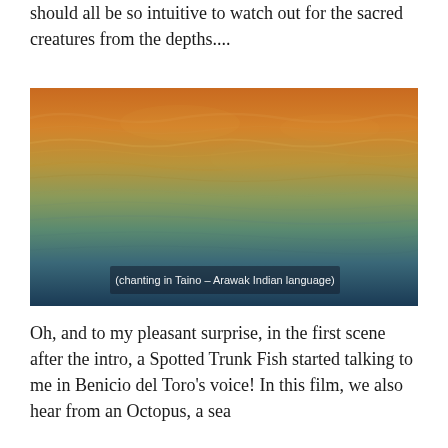should all be so intuitive to watch out for the sacred creatures from the depths....
[Figure (photo): Underwater photograph showing ocean surface from below, with golden-orange light at the top transitioning to deep teal-blue water. Subtitle text reads: (chanting in Taino – Arawak Indian language)]
Oh, and to my pleasant surprise, in the first scene after the intro, a Spotted Trunk Fish started talking to me in Benicio del Toro's voice! In this film, we also hear from an Octopus, a sea